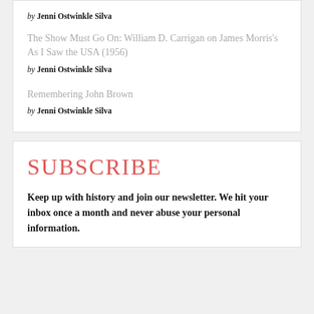by Jenni Ostwinkle Silva
The Show Must Go On: William D. Carrigan on James Morris's As I Saw the USA (1956)
by Jenni Ostwinkle Silva
Remembering John Brown
by Jenni Ostwinkle Silva
SUBSCRIBE
Keep up with history and join our newsletter. We hit your inbox once a month and never abuse your personal information.